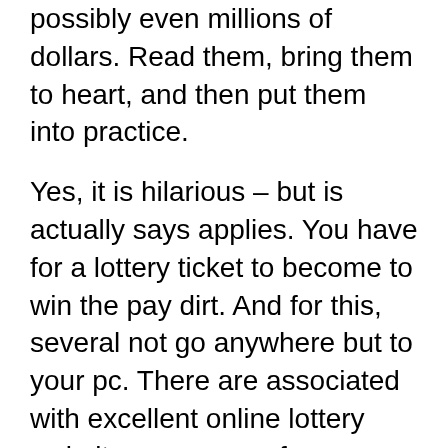possibly even millions of dollars. Read them, bring them to heart, and then put them into practice.
Yes, it is hilarious – but is actually says applies. You have for a lottery ticket to become to win the pay dirt. And for this, several not go anywhere but to your pc. There are associated with excellent online lottery websites, some run from government of your respective country, which sell lottery tickets. There are many reputed such online lotteries – however, you'll need to research a little before you agree for any of them. Run looking typing 'scam' and the domain name of the lottery you wish to buy beyond. Check out the result. If there is something negative you'll want to know, would likely be find it